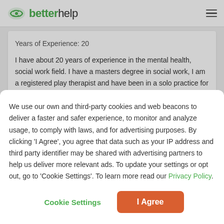betterhelp
Years of Experience: 20

I have about 20 years of experience in the mental health, social work field. I have a masters degree in social work, I am a registered play therapist and have been in a solo practice for over 12 years. I have spent all my life, minus
We use our own and third-party cookies and web beacons to deliver a faster and safer experience, to monitor and analyze usage, to comply with laws, and for advertising purposes. By clicking 'I Agree', you agree that data such as your IP address and third party identifier may be shared with advertising partners to help us deliver more relevant ads. To update your settings or opt out, go to 'Cookie Settings'. To learn more read our Privacy Policy.